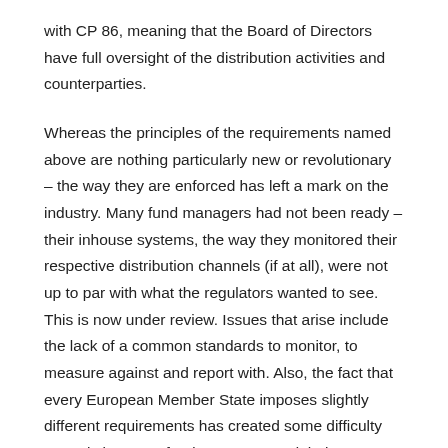with CP 86, meaning that the Board of Directors have full oversight of the distribution activities and counterparties.
Whereas the principles of the requirements named above are nothing particularly new or revolutionary – the way they are enforced has left a mark on the industry. Many fund managers had not been ready – their inhouse systems, the way they monitored their respective distribution channels (if at all), were not up to par with what the regulators wanted to see. This is now under review. Issues that arise include the lack of a common standards to monitor, to measure against and report with. Also, the fact that every European Member State imposes slightly different requirements has created some difficulty not only between fund managers and their respective regulators, but also between fund